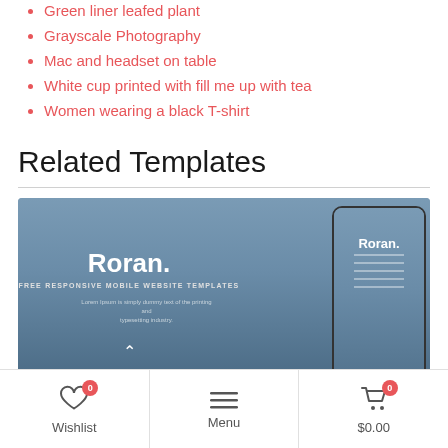Green liner leafed plant
Grayscale Photography
Mac and headset on table
White cup printed with fill me up with tea
Women wearing a black T-shirt
Related Templates
[Figure (screenshot): Screenshot of a website template called 'Roran.' with subtitle 'FREE RESPONSIVE MOBILE WEBSITE TEMPLATES' and Lorem Ipsum description text, shown on a cityscape background. A smartphone mockup on the right also displays the Roran template.]
Wishlist 0   Menu   $0.00 0